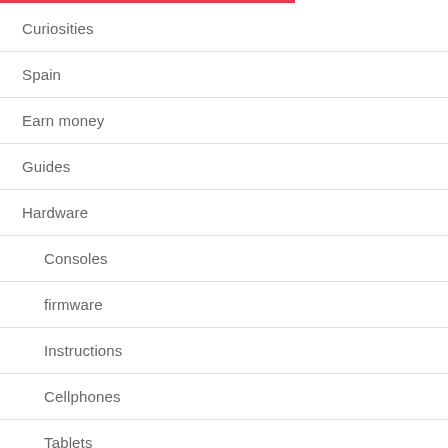Curiosities
Spain
Earn money
Guides
Hardware
Consoles
firmware
Instructions
Cellphones
Tablets